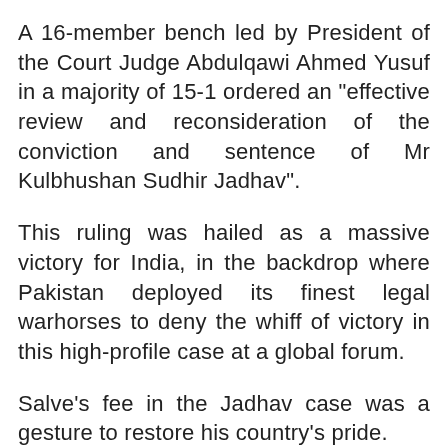A 16-member bench led by President of the Court Judge Abdulqawi Ahmed Yusuf in a majority of 15-1 ordered an "effective review and reconsideration of the conviction and sentence of Mr Kulbhushan Sudhir Jadhav".
This ruling was hailed as a massive victory for India, in the backdrop where Pakistan deployed its finest legal warhorses to deny the whiff of victory in this high-profile case at a global forum.
Salve's fee in the Jadhav case was a gesture to restore his country's pride.